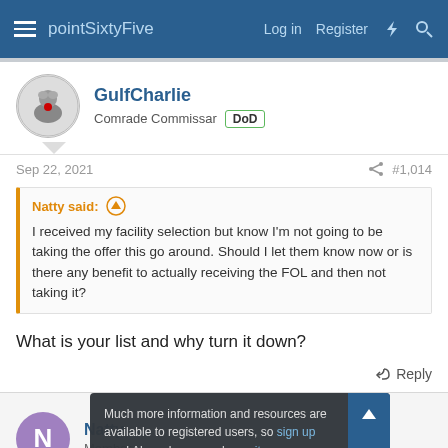pointSixtyFive   Log in   Register
GulfCharlie
Comrade Commissar  DoD
Sep 22, 2021   #1,014
Natty said:
I received my facility selection but know I'm not going to be taking the offer this go around. Should I let them know now or is there any benefit to actually receiving the FOL and then not taking it?
What is your list and why turn it down?
Reply
Natty
Member
Much more information and resources are available to registered users, so sign up now! Also, please read our site usage guidelines. These will help you get the most out of the site. Thanks!